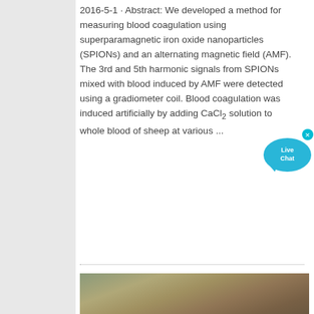2016-5-1 · Abstract: We developed a method for measuring blood coagulation using superparamagnetic iron oxide nanoparticles (SPIONs) and an alternating magnetic field (AMF). The 3rd and 5th harmonic signals from SPIONs mixed with blood induced by AMF were detected using a gradiometer coil. Blood coagulation was induced artificially by adding CaCl2 solution to whole blood of sheep at various ...
[Figure (photo): Outdoor landscape/terrain photo showing a road or path through hilly or mountainous terrain]